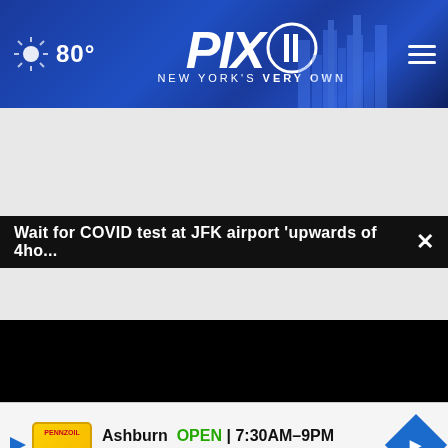[Figure (screenshot): PIX11 news website header with weather showing 80°, PIX11 logo with 'NEW YORK'S VERY OWN' tagline, cityscape background, and hamburger menu icon on a blue gradient background]
Wait for COVID test at JFK airport 'upwards of 4ho... ×
[Figure (screenshot): Black video player area with a loading spinner (white curved arc) in center]
More Stories ▸
[Figure (screenshot): Advertisement banner for Pennzoil showing: Ashburn OPEN 7:30AM–9PM, 43731 Parkhurst Plaza, Ashburn with Pennzoil logo and navigation arrow icon]